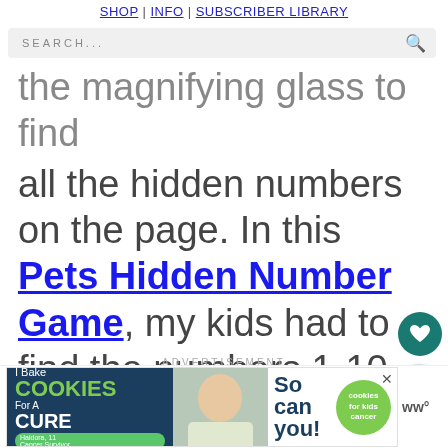SHOP | INFO | SUBSCRIBER LIBRARY
SEARCH...
the magnifying glass to find all the hidden numbers on the page. In this Pets Hidden Number Game, my kids had to find the numbers 1-10 hidden in the picture.
ADVERTISEMENT
[Figure (other): I Bake COOKIES For A CURE advertisement banner with green cookie logo and photo of a woman]
ww°